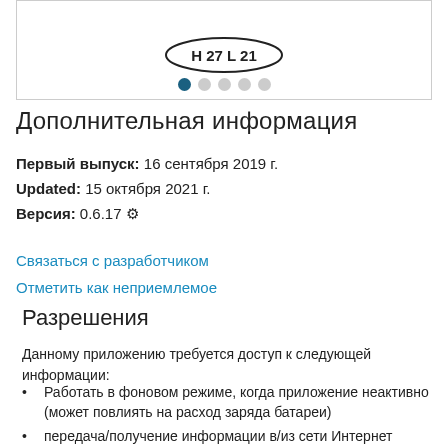[Figure (other): Partial view of a stamp/badge with text 'H 27 L 21' and a row of navigation dots below, first dot filled dark teal, remaining four dots light gray]
Дополнительная информация
Первый выпуск: 16 сентября 2019 г.
Updated: 15 октября 2021 г.
Версия: 0.6.17 ⚙
Связаться с разработчиком
Отметить как неприемлемое
Разрешения
Данному приложению требуется доступ к следующей информации:
Работать в фоновом режиме, когда приложение неактивно (может повлиять на расход заряда батареи)
передача/получение информации в/из сети Интернет